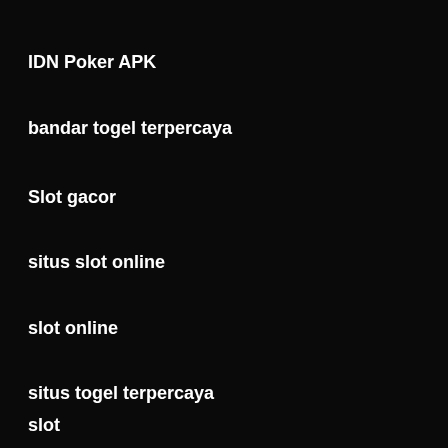IDN Poker APK
bandar togel terpercaya
Slot gacor
situs slot online
slot online
situs togel terpercaya
slot